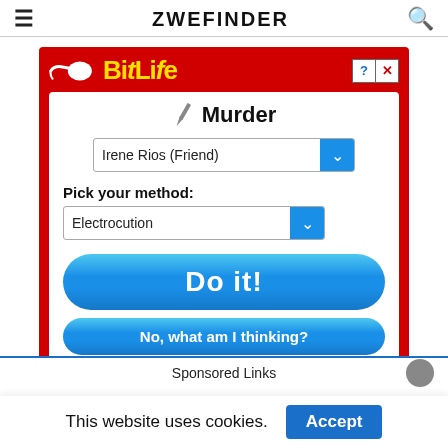≡  ZWEFINDER  🔍
[Figure (screenshot): BitLife mobile app advertisement showing a 'Murder' screen with a dropdown for 'Irene Rios (Friend)', a 'Pick your method:' dropdown showing 'Electrocution', a large blue 'Do it!' button, and a smaller blue 'No, what am I thinking?' button. The ad has a red background with the BitLife logo in yellow at the top.]
Sponsored Links
This website uses cookies.
Accept